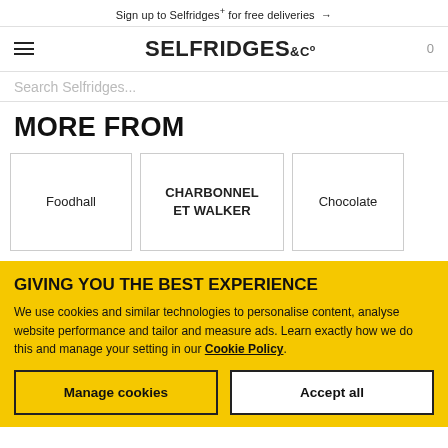Sign up to Selfridges+ for free deliveries →
[Figure (logo): Selfridges & Co logo with hamburger menu and cart icon]
Search Selfridges...
MORE FROM
Foodhall
CHARBONNEL ET WALKER
Chocolate
GIVING YOU THE BEST EXPERIENCE
We use cookies and similar technologies to personalise content, analyse website performance and tailor and measure ads. Learn exactly how we do this and manage your setting in our Cookie Policy.
Manage cookies
Accept all